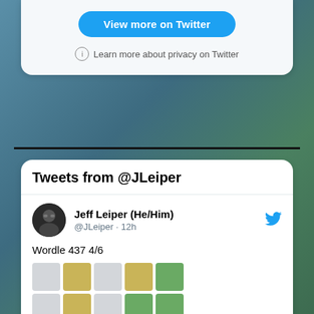View more on Twitter
Learn more about privacy on Twitter
Tweets from @JLeiper
Jeff Leiper (He/Him)
@JLeiper · 12h
Wordle 437 4/6
[Figure (other): Wordle 4x5 emoji grid showing 4 rows of 5 colored squares. Row 1: gray, yellow, gray, yellow, green. Row 2: gray, yellow, gray, green, green. Row 3: green, gray, gray, green, green. Row 4: green, green, green, green, green.]
4 (likes)